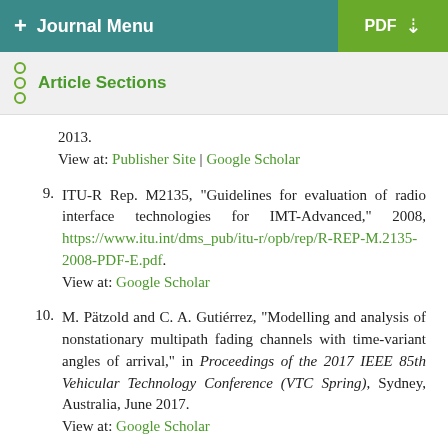+ Journal Menu | PDF ↓
Article Sections
2013.
View at: Publisher Site | Google Scholar
9. ITU-R Rep. M2135, "Guidelines for evaluation of radio interface technologies for IMT-Advanced," 2008, https://www.itu.int/dms_pub/itu-r/opb/rep/R-REP-M.2135-2008-PDF-E.pdf.
View at: Google Scholar
10. M. Pätzold and C. A. Gutiérrez, "Modelling and analysis of nonstationary multipath fading channels with time-variant angles of arrival," in Proceedings of the 2017 IEEE 85th Vehicular Technology Conference (VTC Spring), Sydney, Australia, June 2017.
View at: Google Scholar